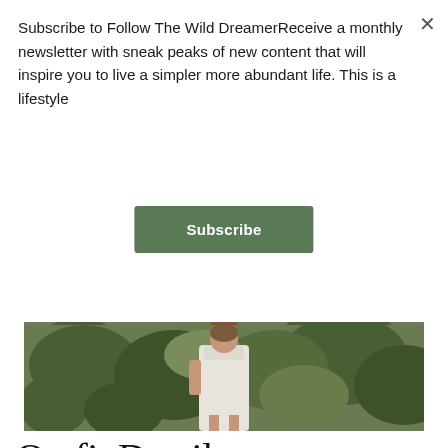Subscribe to Follow The Wild DreamerReceive a monthly newsletter with sneak peaks of new content that will inspire you to live a simpler more abundant life. This is a lifestyle
Subscribe
[Figure (photo): A person wearing a white dress standing outdoors among green vegetation and bushes]
Outfit Details
This white dress is from my newly found favorite clothing store, Adored Vintage, I also wore another dress from this brand in my picnic post here. It was the perfect fit for a summer day of exploring. It was a